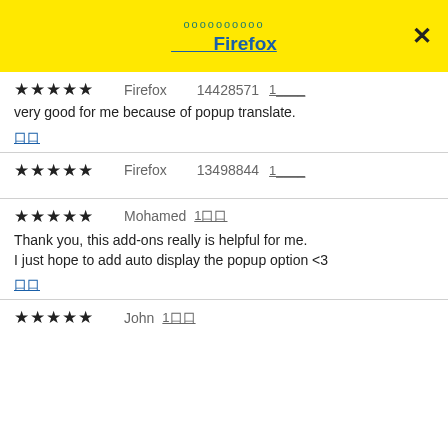oooooooooo Firefox
★★★★★  Firefox  14428571  1
very good for me because of popup translate.
口口
★★★★★  Firefox  13498844  1
★★★★★  Mohamed  1口口
Thank you, this add-ons really is helpful for me.
I just hope to add auto display the popup option <3
口口
★★★★★  John  1口口